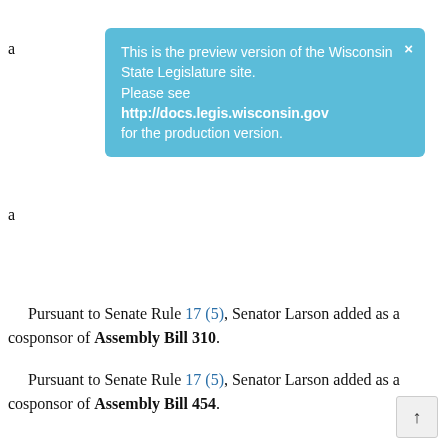[Figure (other): Blue preview banner for Wisconsin State Legislature site with close button and link to http://docs.legis.wisconsin.gov]
Pursuant to Senate Rule 17 (5), Senator Larson added as a cosponsor of Assembly Bill 310.
Pursuant to Senate Rule 17 (5), Senator Larson added as a cosponsor of Assembly Bill 454.
Pursuant to Senate Rule 17 (5), Senator Jacque added as a cosponsor of Assembly Bill 470.
Pursuant to Senate Rule 17 (5), Senator Larson added as a cosponsor of Assembly Bill 645.
Pursuant to Senate Rule 17 (5), Senator Larson added as a cosponsor of Assembly Bill 647.